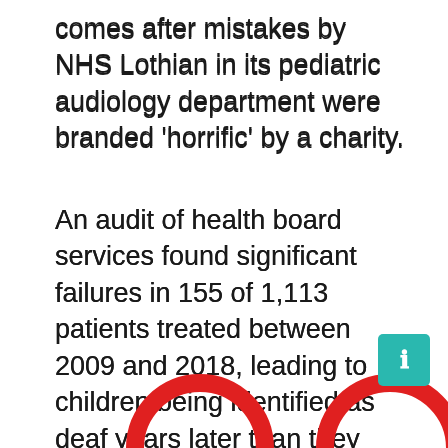comes after mistakes by NHS Lothian in its pediatric audiology department were branded 'horrific' by a charity.
An audit of health board services found significant failures in 155 of 1,113 patients treated between 2009 and 2018, leading to children being identified as deaf years later than they should have been.
The Scottish Government said further assessment of audiology services has 'highlighted areas of improvement' which need to be addressed.
[Figure (illustration): Partial red circular arcs visible at the bottom of the page, two arcs cut off by the page edge]